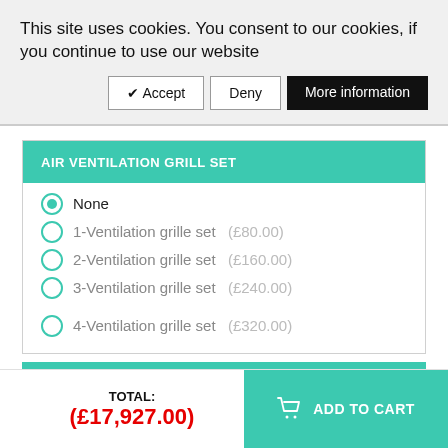This site uses cookies. You consent to our cookies, if you continue to use our website
✔ Accept
Deny
More information
AIR VENTILATION GRILL SET
None (selected)
1-Ventilation grille set (£80.00)
2-Ventilation grille set (£160.00)
3-Ventilation grille set (£240.00)
4-Ventilation grille set (£320.00)
View details
TOTAL: (£17,927.00)
ADD TO CART